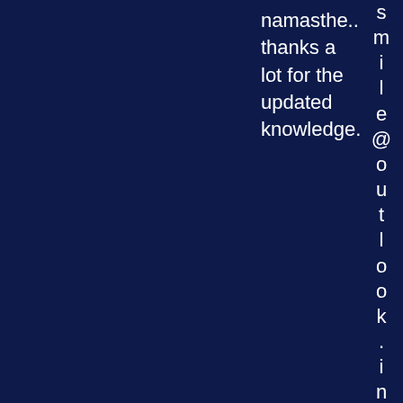namasthe.. thanks a lot for the updated knowledge.
smile@outlook.in 9810003